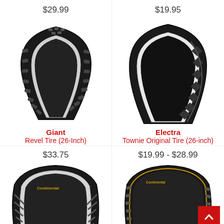$29.99
[Figure (photo): Giant Revel Tire (26-Inch) - black knobby mountain bike tire]
Giant
Revel Tire (26-Inch)
$19.95
[Figure (photo): Electra Townie Original Tire (26-inch) - black road/city bike tire]
Electra
Townie Original Tire (26-inch)
$33.75
[Figure (photo): Continental tire (bottom left) - black road bike tire, partial view]
$19.99 - $28.99
[Figure (photo): Continental tire (bottom right) - black knobby tire, partial view]